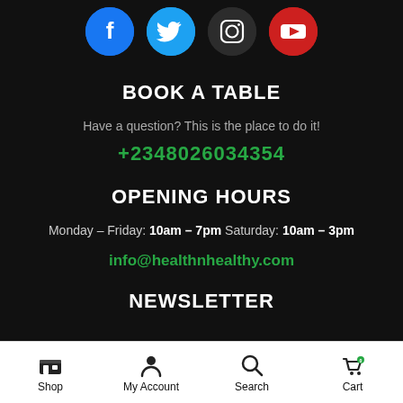[Figure (other): Social media icons: Facebook (blue circle), Twitter (light blue circle), Instagram (dark circle), YouTube (red circle)]
BOOK A TABLE
Have a question? This is the place to do it!
+2348026034354
OPENING HOURS
Monday – Friday: 10am – 7pm Saturday: 10am – 3pm
info@healthnhealthy.com
NEWSLETTER
Shop | My Account | Search | Cart